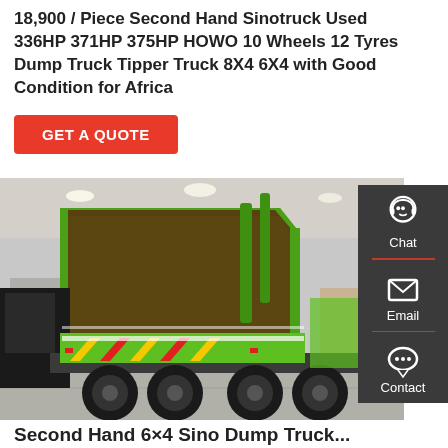18,900 / Piece Second Hand Sinotruck Used 336HP 371HP 375HP HOWO 10 Wheels 12 Tyres Dump Truck Tipper Truck 8X4 6X4 with Good Condition for Africa
GET A QUOTE
[Figure (photo): Photo of a green Sinotruck HOWO dump/tipper truck with the dump bed raised, displayed in an exhibition hall. The truck has yellow and red chevron markings on the rear.]
[Figure (infographic): Dark gray sidebar with three contact options: Chat (headset icon), Email (envelope icon), Contact (speech bubble icon), separated by red horizontal lines.]
Second Hand 6×4 Sino Dump Truck...